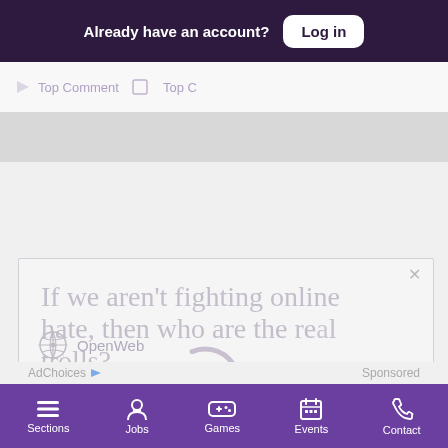Already have an account? Log in
Top Comment   Top C
[Figure (screenshot): Advertisement for OpenWeb with text 'If we aren't fighting online hate, then who are the real trolls?' and a loading spinner overlay, subtext 'It's time to save online conversation.' with a Learn more button and the OpenWeb logo at the bottom.]
AdChoices   Sponsored
Sections   Jobs   Games   Events   Contact